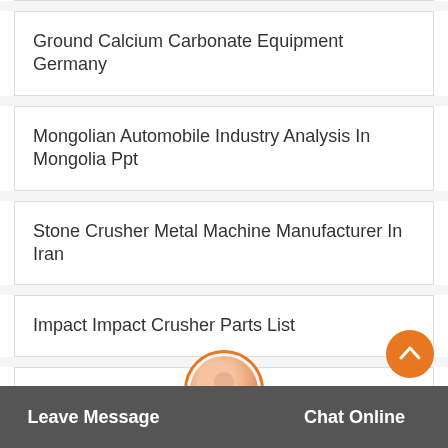Ground Calcium Carbonate Equipment Germany
Mongolian Automobile Industry Analysis In Mongolia Ppt
Stone Crusher Metal Machine Manufacturer In Iran
Impact Impact Crusher Parts List
Smill Diamond Screen
Vod Meter Machinevoest Crusher Double
Crushing And Grinding Inc
Leave Message   Chat Online